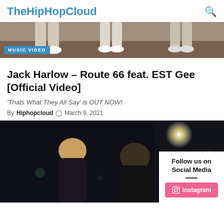TheHipHopCloud
[Figure (photo): Top banner image showing legs/feet of people walking, with a 'MUSIC VIDEO' badge overlay in blue]
Jack Harlow – Route 66 feat. EST Gee [Official Video]
'Thats What They All Say' is OUT NOW!
By Hiphopcloud  ⊙ March 9, 2021
[Figure (photo): Dark nighttime music video scene showing a woman with blonde hair and a man, with a circular light flare in the upper right. A 'Follow us on Social Media' panel with an instagram button overlays the bottom right.]